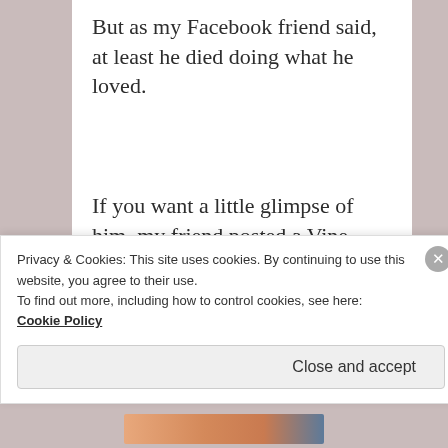But as my Facebook friend said, at least he died doing what he loved.
If you want a little glimpse of him, my friend posted a Vine video of him here. I can't figure out how to embed it, so just click the link to see.
Privacy & Cookies: This site uses cookies. By continuing to use this website, you agree to their use.
To find out more, including how to control cookies, see here: Cookie Policy
Close and accept